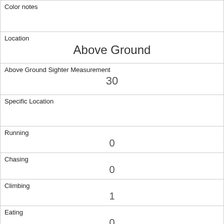| Color notes |  |
| Location | Above Ground |
| Above Ground Sighter Measurement | 30 |
| Specific Location |  |
| Running | 0 |
| Chasing | 0 |
| Climbing | 1 |
| Eating | 0 |
| Foraging | 0 |
| Other Activities |  |
| Kuks |  |